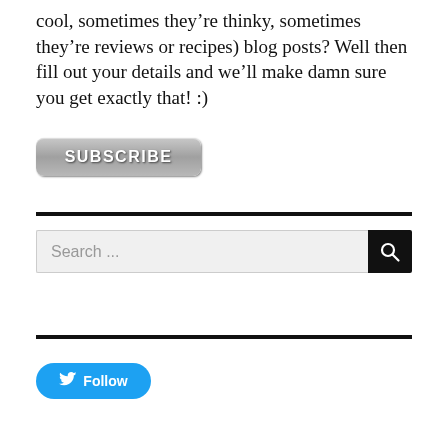cool, sometimes they’re thinky, sometimes they’re reviews or recipes) blog posts? Well then fill out your details and we’ll make damn sure you get exactly that! :)
[Figure (other): A grey rounded-rectangle button with the text SUBSCRIBE in bold white capital letters]
[Figure (other): A search bar with light grey background and placeholder text 'Search ...' on the left, and a black square search icon button on the right]
[Figure (other): A blue rounded pill-shaped Twitter Follow button with a white bird icon and white text 'Follow']